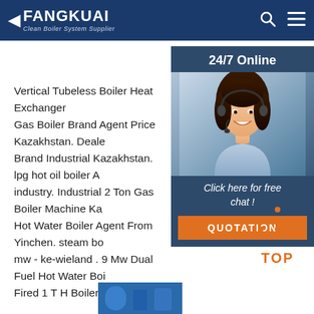FANGKUAI Clean Boiler System Supplier
Vertical Tubeless Boiler Heat Exchanger Gas Boiler Brand Agent Price Kazakhstan. Dealer Brand Industrial Kazakhstan. lpg hot oil boiler A industry. Industrial 2 Ton Gas Boiler Machine Ka Hot Water Boiler Agent From Yinchen. steam bo mw - ke-wieland . 9 Mw Dual Fuel Hot Water Boi Fired 1 T H Boiler In ...
[Figure (photo): Customer service representative woman with headset, 24/7 Online chat widget with QUOTATION button on dark blue background]
Get Price
[Figure (infographic): TOP button with orange dots arranged in triangle shape above the word TOP in orange]
[Figure (photo): Partial blue boiler equipment image at bottom of page]